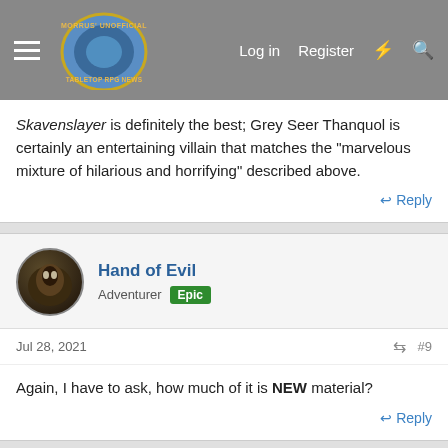Morrus' Unofficial Tabletop RPG News — Log in | Register
Skavenslayer is definitely the best; Grey Seer Thanquol is certainly an entertaining villain that matches the "marvelous mixture of hilarious and horrifying" described above.
Reply
Hand of Evil
Adventurer Epic
Jul 28, 2021
#9
Again, I have to ask, how much of it is NEW material?
Reply
TheSword